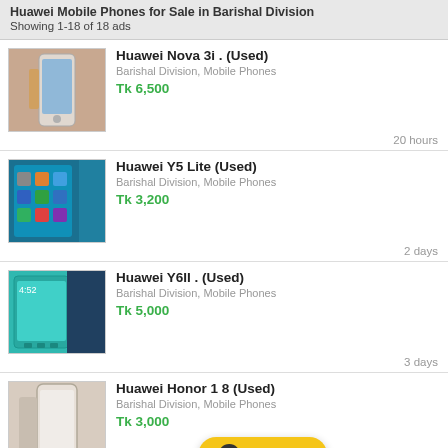Huawei Mobile Phones for Sale in Barishal Division
Showing 1-18 of 18 ads
Huawei Nova 3i . (Used) | Barishal Division, Mobile Phones | Tk 6,500 | 20 hours
Huawei Y5 Lite (Used) | Barishal Division, Mobile Phones | Tk 3,200 | 2 days
Huawei Y6II . (Used) | Barishal Division, Mobile Phones | Tk 5,000 | 3 days
Huawei Honor 1 8 (Used) | Barishal Division, Mobile Phones | Tk 3,000
Post Ad